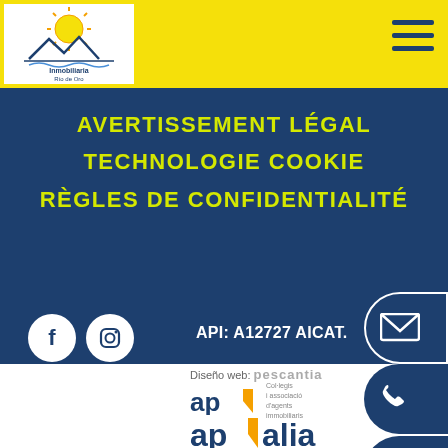[Figure (logo): Inmobiliaria Río de Oro logo - house/sun graphic with text, on white background within yellow header bar]
[Figure (other): Hamburger menu icon (three horizontal dark blue lines) on yellow background, top right]
AVERTISSEMENT LÉGAL
TECHNOLOGIE COOKIE
RÈGLES DE CONFIDENTIALITÉ
[Figure (other): Facebook icon (white F in white circle) on dark blue background]
[Figure (other): Instagram icon (white camera in white circle) on dark blue background]
API: A12727 AICAT.
[Figure (other): Email envelope icon button on dark blue semi-pill shape on right edge]
Diseño web: pescantia
[Figure (logo): API Col·legis i associació d'agents immobiliaris logo]
[Figure (logo): APIalia Costa Brava logo]
[Figure (other): Phone icon button on dark blue semi-pill shape on right edge]
[Figure (other): WhatsApp icon button on dark blue semi-pill shape on right edge]
registre d'agents immobiliaris de Catalunya
[Figure (other): Scroll up arrow button in dark blue circle on right side]